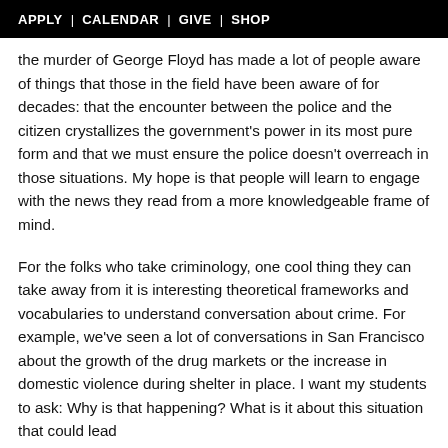APPLY | CALENDAR | GIVE | SHOP
the murder of George Floyd has made a lot of people aware of things that those in the field have been aware of for decades: that the encounter between the police and the citizen crystallizes the government's power in its most pure form and that we must ensure the police doesn't overreach in those situations. My hope is that people will learn to engage with the news they read from a more knowledgeable frame of mind.
For the folks who take criminology, one cool thing they can take away from it is interesting theoretical frameworks and vocabularies to understand conversation about crime. For example, we've seen a lot of conversations in San Francisco about the growth of the drug markets or the increase in domestic violence during shelter in place. I want my students to ask: Why is that happening? What is it about this situation that could lead